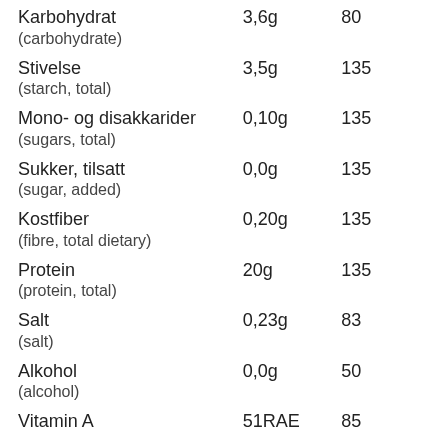| Nutrient | Amount | Code |
| --- | --- | --- |
| Karbohydrat (carbohydrate) | 3,6g | 80 |
| Stivelse (starch, total) | 3,5g | 135 |
| Mono- og disakkarider (sugars, total) | 0,10g | 135 |
| Sukker, tilsatt (sugar, added) | 0,0g | 135 |
| Kostfiber (fibre, total dietary) | 0,20g | 135 |
| Protein (protein, total) | 20g | 135 |
| Salt (salt) | 0,23g | 83 |
| Alkohol (alcohol) | 0,0g | 50 |
| Vitamin A | 51RAE | 85 |